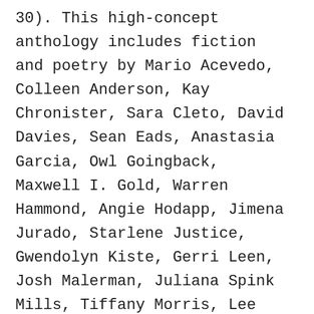30). This high-concept anthology includes fiction and poetry by Mario Acevedo, Colleen Anderson, Kay Chronister, Sara Cleto, David Davies, Sean Eads, Anastasia Garcia, Owl Goingback, Maxwell I. Gold, Warren Hammond, Angie Hodapp, Jimena Jurado, Starlene Justice, Gwendolyn Kiste, Gerri Leen, Josh Malerman, Juliana Spink Mills, Tiffany Morris, Lee Murray, Annie Neugebauer, Gerardo Horacio Porcayo, Cameron E. Quinn, Sarah Read, Kathryn Reilly, Julia Rios, Betty Rocksteady, Marge Simon, Angela Yuriko Smith, Christina Sng, Jeanne C. Stein, Tim Waggoner, Brittany Warman, Christa Wojciechowski, Stephanie M. Wytovich, Mercedes M.